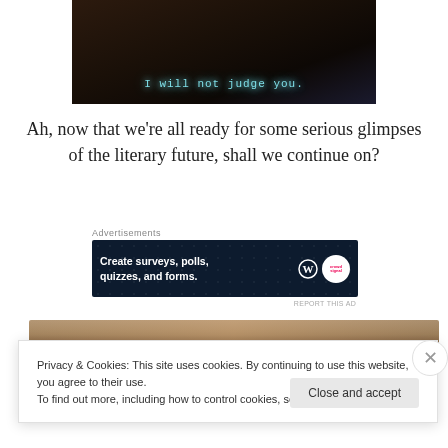[Figure (screenshot): Video screenshot showing a dark kitchen scene with subtitle text 'I will not judge you.' in cyan monospace font]
Ah, now that we’re all ready for some serious glimpses of the literary future, shall we continue on?
Advertisements
[Figure (screenshot): Advertisement banner with dark navy background: 'Create surveys, polls, quizzes, and forms.' with WordPress and CrowdSignal logos]
REPORT THIS AD
[Figure (photo): Partial photo of a woman with blonde hair, cropped at top]
Privacy & Cookies: This site uses cookies. By continuing to use this website, you agree to their use.
To find out more, including how to control cookies, see here: Cookie Policy
Close and accept